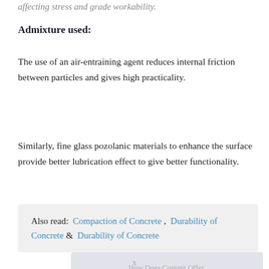affecting stress and grade workability.
Admixture used:
The use of an air-entraining agent reduces internal friction between particles and gives high practicality.
Similarly, fine glass pozolanic materials to enhance the surface provide better lubrication effect to give better functionality.
Also read:  Compaction of Concrete ,  Durability of Concrete  &  Durability of Concrete